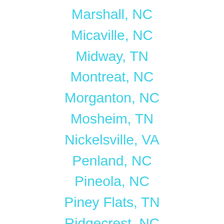Marshall, NC
Micaville, NC
Midway, TN
Montreat, NC
Morganton, NC
Mosheim, TN
Nickelsville, VA
Penland, NC
Pineola, NC
Piney Flats, TN
Ridgecrest, NC
Roan Mountain, TN
Rogersville, TN
Saint Paul, VA
Scottville, NC